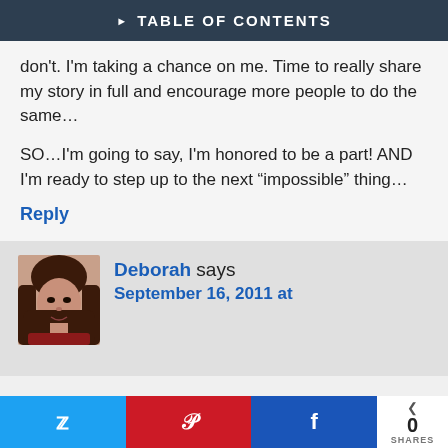TABLE OF CONTENTS
don't. I'm taking a chance on me. Time to really share my story in full and encourage more people to do the same…
SO…I'm going to say, I'm honored to be a part! AND I'm ready to step up to the next “impossible” thing…
Reply
Deborah says September 16, 2011 at
0 SHARES